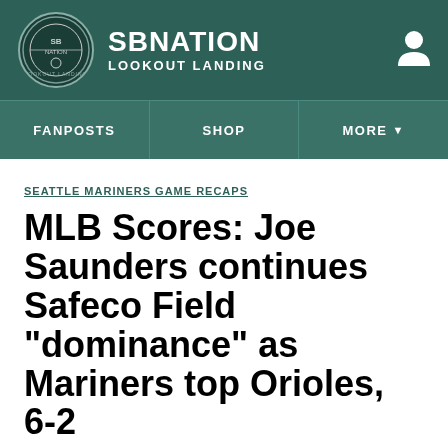SB NATION | LOOKOUT LANDING
FANPOSTS | SHOP | MORE
SEATTLE MARINERS GAME RECAPS
MLB Scores: Joe Saunders continues Safeco Field "dominance" as Mariners top Orioles, 6-2
12-16: "Safeco Joe" keeps nickname, Mariners roll
By Jon Shields | Apr 29, 2013, 11:56pm PDT